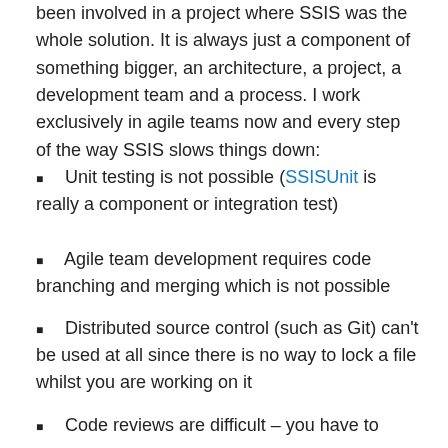been involved in a project where SSIS was the whole solution. It is always just a component of something bigger, an architecture, a project, a development team and a process. I work exclusively in agile teams now and every step of the way SSIS slows things down:
Unit testing is not possible (SSISUnit is really a component or integration test)
Agile team development requires code branching and merging which is not possible
Distributed source control (such as Git) can't be used at all since there is no way to lock a file whilst you are working on it
Code reviews are difficult – you have to open up every package and click every box to check
It is hard to enforce project standards – StyleCop and